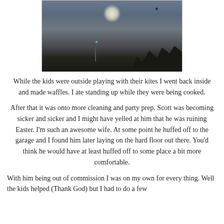[Figure (photo): Outdoor photo looking up at a pale grey-blue sky with trees silhouetted in the lower right corner and a small kite visible near the top. A street lamp or pole is visible in the lower middle area with a small light glowing near it.]
While the kids were outside playing with their kites I went back inside and made waffles. I ate standing up while they were being cooked.
After that it was onto more cleaning and party prep. Scott was becoming sicker and sicker and I might have yelled at him that he was ruining Easter. I'm such an awesome wife. At some point he huffed off to the garage and I found him later laying on the hard floor out there. You'd think he would have at least huffed off to some place a bit more comfortable.
With him being out of commission I was on my own for every thing. Well the kids helped (Thank God) but I had to do a few